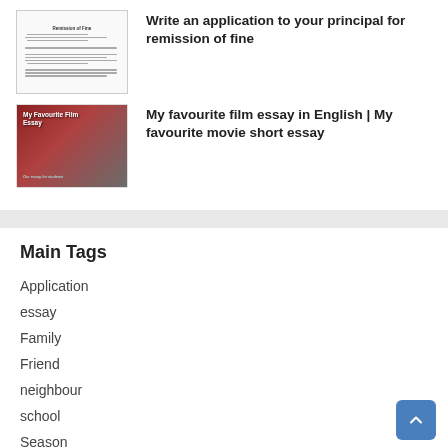[Figure (illustration): Thumbnail of a document page titled 'Remission of Fine' with text lines]
Write an application to your principal for remission of fine
[Figure (photo): Thumbnail image with red/dark background showing 'My Favourite Film Essay' text overlay]
My favourite film essay in English | My favourite movie short essay
Main Tags
Application
essay
Family
Friend
neighbour
school
Season